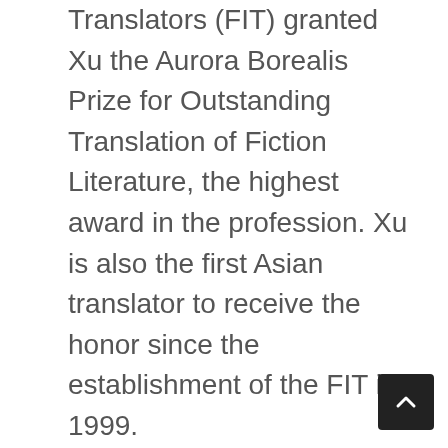Translators (FIT) granted Xu the Aurora Borealis Prize for Outstanding Translation of Fiction Literature, the highest award in the profession. Xu is also the first Asian translator to receive the honor since the establishment of the FIT in 1999.
Through his pursuit of excellence, the master had enabled English and French-speaking audiences to better understand the beauty of Chinese literature and the Chinese wisdom beneath.
“I am the only translator capable of rendering Chinese poems in English and French,” read Xu’s business card. He contributed a mind-boggling quantity of translations in his life, including more